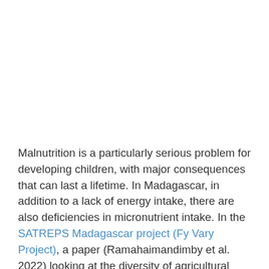Malnutrition is a particularly serious problem for developing children, with major consequences that can last a lifetime. In Madagascar, in addition to a lack of energy intake, there are also deficiencies in micronutrient intake. In the SATREPS Madagascar project (Fy Vary Project), a paper (Ramahaimandimby et al. 2022) looking at the diversity of agricultural production, food diversity, and their impact on children's nutritional status in rural Madagascar was published in collaboration with the University of Tokyo. An overview